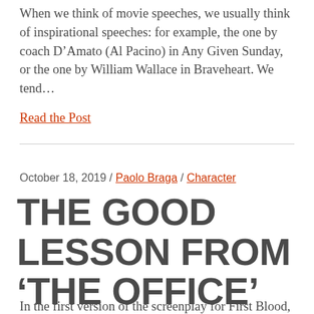When we think of movie speeches, we usually think of inspirational speeches: for example, the one by coach D'Amato (Al Pacino) in Any Given Sunday, or the one by William Wallace in Braveheart. We tend...
Read the Post
October 18, 2019 / Paolo Braga / Character
THE GOOD LESSON FROM 'THE OFFICE'
In the first version of the screenplay for First Blood,